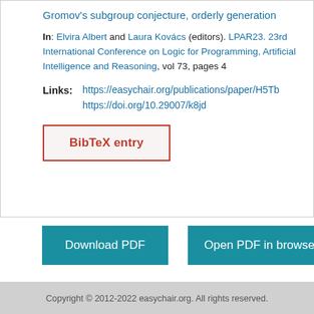Gromov's subgroup conjecture, orderly generation
In: Elvira Albert and Laura Kovács (editors). LPAR23. 23rd International Conference on Logic for Programming, Artificial Intelligence and Reasoning, vol 73, pages 4
Links: https://easychair.org/publications/paper/H5Tb
https://doi.org/10.29007/k8jd
BibTeX entry
Download PDF
Open PDF in browser
Copyright © 2012-2022 easychair.org. All rights reserved.